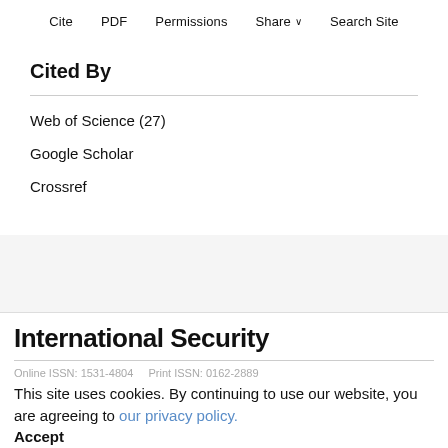Cite  PDF  Permissions  Share ∨  Search Site
Cited By
Web of Science (27)
Google Scholar
Crossref
International Security
Online ISSN: 1531-4804    Print ISSN: 0162-2889
This site uses cookies. By continuing to use our website, you are agreeing to our privacy policy.
Accept